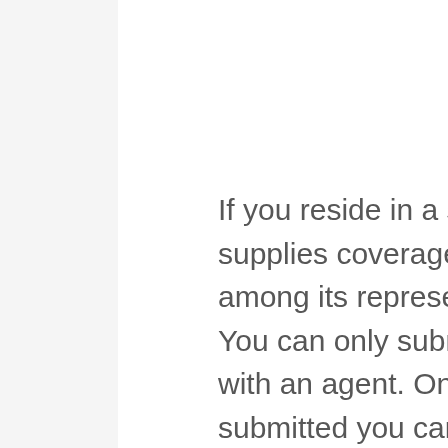If you reside in a state where Auto-Owners supplies coverage, you'll be directed to call among its representatives to finalize the rate. You can only submit claims by getting in touch with an agent. Once the claim has actually been submitted you can track it online. The Auto-Owners app is readily available on Android or i, OS.